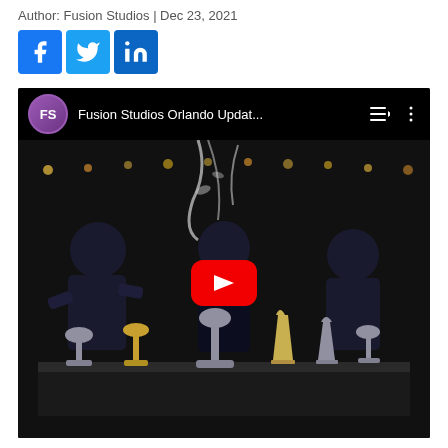Author: Fusion Studios | Dec 23, 2021
[Figure (other): Social media share buttons for Facebook, Twitter, and LinkedIn]
[Figure (screenshot): YouTube video thumbnail showing three men in black shirts celebrating with confetti poppers on a dark stage, with trophies on a table. Video title: Fusion Studios Orlando Updat...]